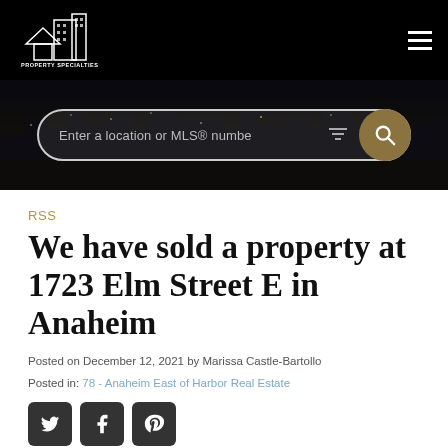[Figure (logo): Property Specialties logo — white building/house icon with company name below on black background]
[Figure (screenshot): Hero search banner with city night skyline background, search input reading 'Enter a location or MLS® numbe', filter icon, and gold circular search button]
RSS
We have sold a property at 1723 Elm Street E in Anaheim
Posted on December 12, 2021 by Marissa Castle-Bartollo
Posted in: 78 - Anaheim East of Harbor Real Estate
[Figure (illustration): Three dark grey square social share buttons: Twitter (bird icon), Facebook (f icon), Pinterest (p icon)]